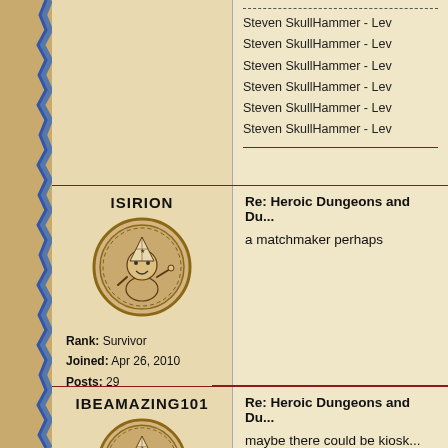Steven SkullHammer - Lev...
Steven SkullHammer - Lev...
Steven SkullHammer - Lev...
Steven SkullHammer - Lev...
Steven SkullHammer - Lev...
Steven SkullHammer - Lev...
ISIRION
[Figure (illustration): Round coin-style avatar with cartoon character wearing party hat, waving]
Rank: Survivor
Joined: Apr 26, 2010
Posts: 29
Re: Heroic Dungeons and Du...
a matchmaker perhaps
IBEAMAZING101
[Figure (illustration): Round coin-style avatar with cartoon character wearing party hat, waving]
Re: Heroic Dungeons and Du...
maybe there could be kiosk...